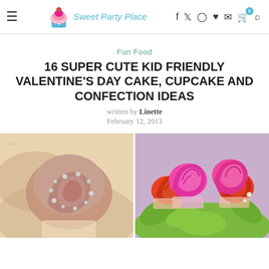Sweet Party Place — site header with logo and navigation icons
Fun Food
16 SUPER CUTE KID FRIENDLY VALENTINE'S DAY CAKE, CUPCAKE AND CONFECTION IDEAS
written by Linette
February 12, 2013
[Figure (photo): Close-up of a cupcake with swirled chocolate frosting topped with silver pearl decorations]
[Figure (photo): Bouquet of pink and red rosette frosted cupcakes in colorful liners arranged like flowers with green leaves]